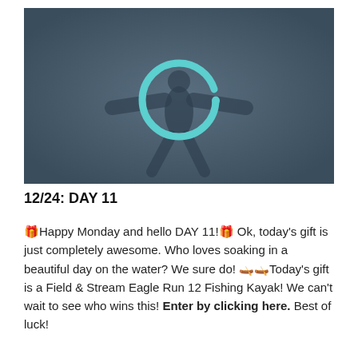[Figure (photo): Dark blue-grey blurred background showing a silhouette of a person with arms outstretched. A teal/cyan circular ring (loading spinner or donut shape) is overlaid in the center of the image.]
12/24: DAY 11
🎁Happy Monday and hello DAY 11!🎁 Ok, today's gift is just completely awesome. Who loves soaking in a beautiful day on the water? We sure do! 🛶🛶Today's gift is a Field & Stream Eagle Run 12 Fishing Kayak! We can't wait to see who wins this! Enter by clicking here. Best of luck!